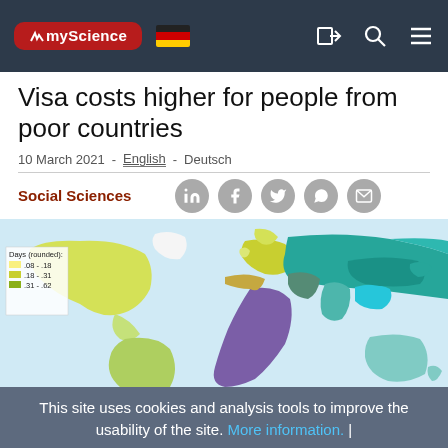myScience [logo] [DE flag] [login] [search] [menu]
Visa costs higher for people from poor countries
10 March 2021  -  English  -  Deutsch
Social Sciences
[Figure (map): World map showing average number of days (rounded) that someone has to wait for a visa, color-coded by country. Legend shows ranges: .08-.18, .18-.31, .31-.62, with additional ranges below. Yellow/green colors for North America, teal/blue-green for Russia and Asia.]
Average number of days that someone has to
This site uses cookies and analysis tools to improve the usability of the site. More information. |
OK   Leave